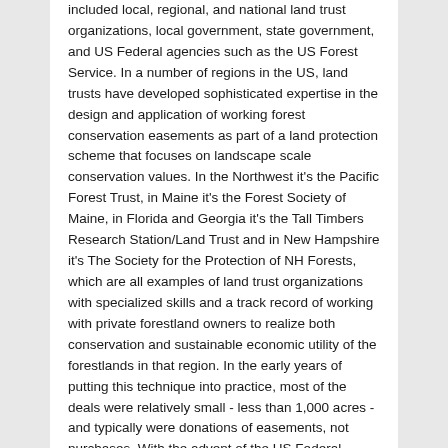included local, regional, and national land trust organizations, local government, state government, and US Federal agencies such as the US Forest Service. In a number of regions in the US, land trusts have developed sophisticated expertise in the design and application of working forest conservation easements as part of a land protection scheme that focuses on landscape scale conservation values. In the Northwest it's the Pacific Forest Trust, in Maine it's the Forest Society of Maine, in Florida and Georgia it's the Tall Timbers Research Station/Land Trust and in New Hampshire it's The Society for the Protection of NH Forests, which are all examples of land trust organizations with specialized skills and a track record of working with private forestland owners to realize both conservation and sustainable economic utility of the forestlands in that region. In the early years of putting this technique into practice, most of the deals were relatively small - less than 1,000 acres - and typically were donations of easements, not purchases. With the advent of the US Federal Forest Legacy Program, created in the 1990 Farm Bill and administered by the US Forest Service and a variety of state funding mechanisms in New York, Minnesota, Colorado, Maine, Vermont, New Hampshire, Wisconsin, California, Tennessee and Florida, the majority of the acreage conserved through the use of working forest conservation easements are now secured through purchase agreements with private timberland owners